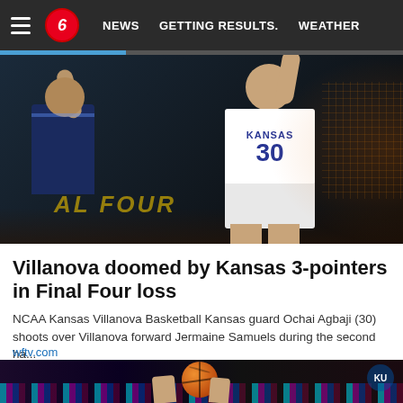≡  6  NEWS  GETTING RESULTS.  WEATHER
[Figure (photo): Basketball game photo: Kansas player #30 Ochai Agbaji shoots over Villanova forward Jermaine Samuels during Final Four game. Arena background visible with 'FINAL FOUR' text.]
Villanova doomed by Kansas 3-pointers in Final Four loss
NCAA Kansas Villanova Basketball Kansas guard Ochai Agbaji (30) shoots over Villanova forward Jermaine Samuels during the second ha...
wftv.com
[Figure (photo): Basketball being held near the hoop during a game, with colorful arena lights in the background.]